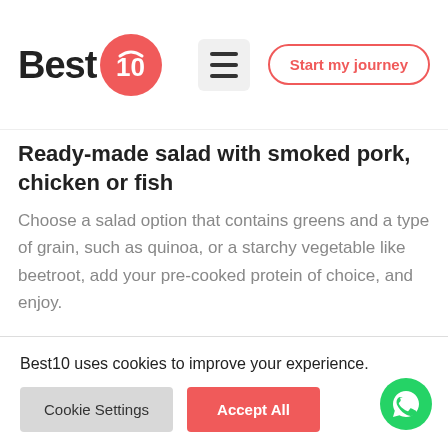Best10 — Start my journey
Ready-made salad with smoked pork, chicken or fish
Choose a salad option that contains greens and a type of grain, such as quinoa, or a starchy vegetable like beetroot, add your pre-cooked protein of choice, and enjoy.
Best10 uses cookies to improve your experience.